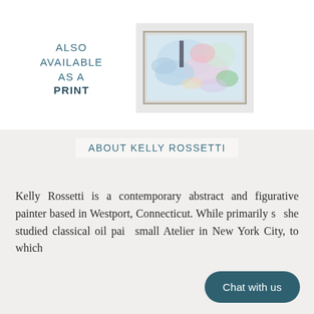ALSO AVAILABLE AS A PRINT
[Figure (illustration): Abstract painting thumbnail in a light grey-toned frame, with soft blue, pink, green and white abstract brushstrokes.]
ABOUT KELLY ROSSETTI
Kelly Rossetti is a contemporary abstract and figurative painter based in Westport, Connecticut. While primarily s... she studied classical oil pai... small Atelier in New York City, to which